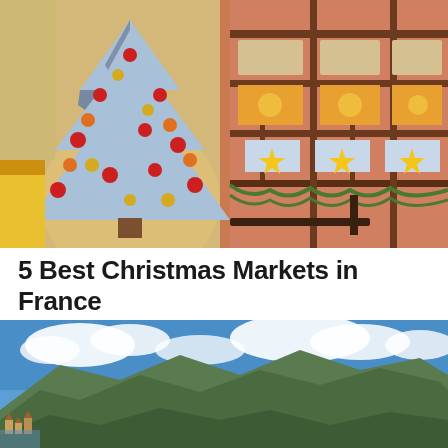[Figure (photo): A blue-tinted decorated Christmas tree with red and gold ornaments in front of a pink half-timbered Alsatian building decorated with festive garlands and Christmas lights.]
5 Best Christmas Markets in France
[Figure (photo): A panoramic landscape photograph of green mountains under a blue sky with white clouds, with a small village visible at the lower left.]